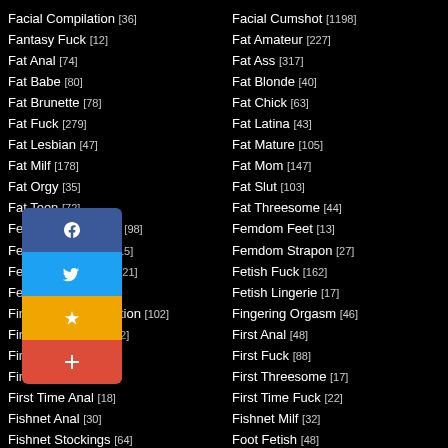Facial Compilation [36]
Fantasy Fuck [12]
Fat Anal [74]
Fat Babe [80]
Fat Brunette [78]
Fat Fuck [279]
Fat Lesbian [47]
Fat Milf [178]
Fat Orgy [35]
Fat Teen [72]
Female Domination [98]
Femdom Mistress [15]
Fetish Compilation [21]
Fetish Handjob [79]
Fingering Masturbation [102]
Fingering Pussy [192]
First Blowjob [121]
First Orgasm [30]
First Time Anal [18]
Fishnet Anal [30]
Fishnet Stockings [64]
Foursome Blowjob [22]
French Blowjob [13]
Fuck Doll [14]
Gangbang Cum [114]
German Babe [18]
Facial Cumshot [1198]
Fat Amateur [227]
Fat Ass [317]
Fat Blonde [40]
Fat Chick [63]
Fat Latina [43]
Fat Mature [105]
Fat Mom [147]
Fat Slut [103]
Fat Threesome [44]
Femdom Feet [13]
Femdom Strapon [27]
Fetish Fuck [162]
Fetish Lingerie [17]
Fingering Orgasm [46]
First Anal [48]
First Fuck [88]
First Threesome [17]
First Time Fuck [22]
Fishnet Milf [32]
Foot Fetish [48]
French Amateur [19]
French Fuck [14]
Gagging Teen [12]
German Amateur [32]
German Blowjob [33]
[Figure (infographic): Social media sharing buttons: Facebook (blue), Twitter (blue), Favorites star (yellow/orange), Add/Plus (red)]